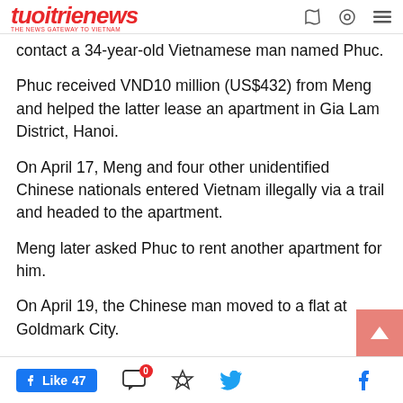tuoitrienews
contact a 34-year-old Vietnamese man named Phuc.
Phuc received VND10 million (US$432) from Meng and helped the latter lease an apartment in Gia Lam District, Hanoi.
On April 17, Meng and four other unidentified Chinese nationals entered Vietnam illegally via a trail and headed to the apartment.
Meng later asked Phuc to rent another apartment for him.
On April 19, the Chinese man moved to a flat at Goldmark City.
Phuc also helped Meng buy food and other essential
Like 47 | share icons